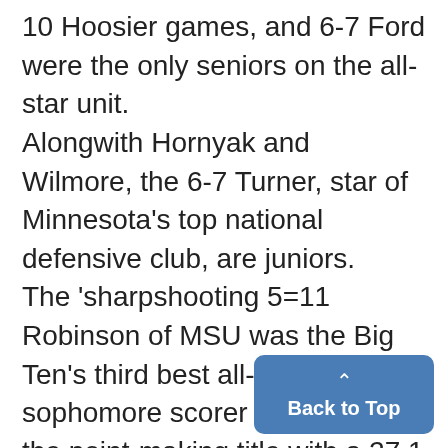10 Hoosier games, and 6-7 Ford were the only seniors on the all-star unit. Alongwith Hornyak and Wilmore, the 6-7 Turner, star of Minnesota's top national defensive club, are juniors. The 'sharpshooting 5=11 Robinson of MSU was the Big Ten's third best all-time sophomore scorer as he won the point-making title with a 27.1 average. The 6-4 Wilmore, effectively switching from forward to guar,